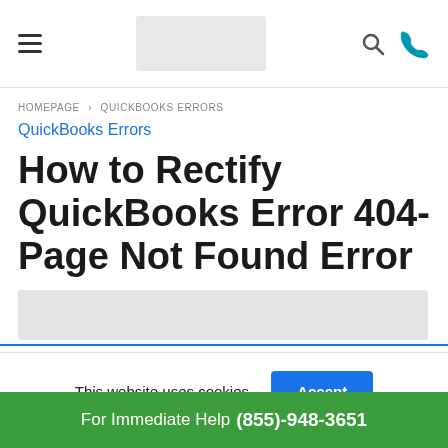[Navigation bar with hamburger menu, logo placeholder, search icon, phone icon]
HOMEPAGE > QUICKBOOKS ERRORS
QuickBooks Errors
How to Rectify QuickBooks Error 404-Page Not Found Error
[Figure (other): Gray image placeholder banner]
This website uses cookies.  Accept
For Immediate Help (855)-948-3651